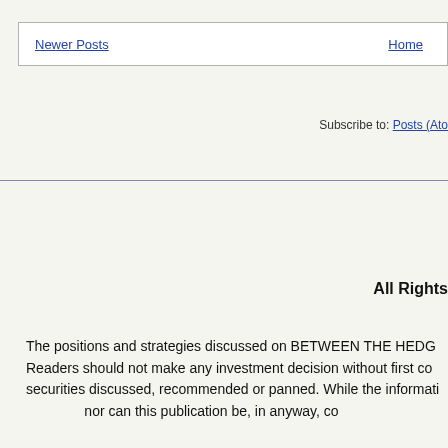Newer Posts | Home
Subscribe to: Posts (Atom)
All Rights
The positions and strategies discussed on BETWEEN THE HEDG Readers should not make any investment decision without first co securities discussed, recommended or panned. While the informati nor can this publication be, in anyway, co